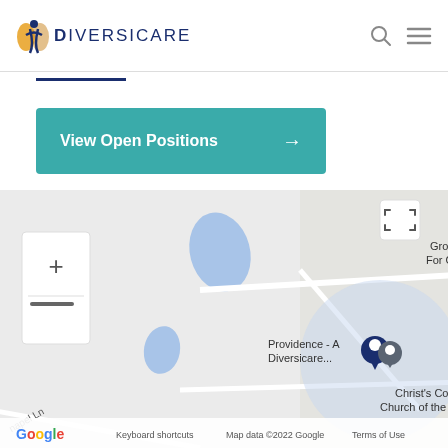[Figure (logo): Diversicare logo with golden figure icon and dark blue text]
[Figure (screenshot): Navigation bar icons: search (magnifying glass) and hamburger menu]
View Open Positions →
[Figure (map): Google Maps screenshot showing Providence - A Diversicare... location on Charlestown Rd, with Growth Center For Counseling, Christ's Community Church of the Nazarene, DALogics, Supply Chain YO nearby. Map includes zoom controls (+/-) and fullscreen button. Bottom shows Google logo, Keyboard shortcuts, Map data ©2022 Google, Terms of Use.]